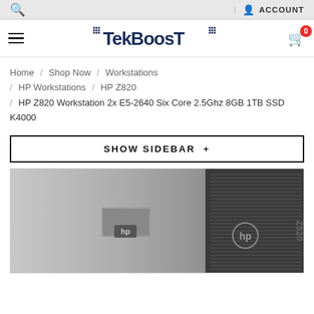Search | ACCOUNT
[Figure (logo): TekBoost logo in dark navy blue stylized font]
Home / Shop Now / Workstations / HP Workstations / HP Z820 / HP Z820 Workstation 2x E5-2640 Six Core 2.5Ghz 8GB 1TB SSD K4000
SHOW SIDEBAR +
[Figure (photo): HP Z820 Workstation tower computer, silver and black chassis, shown from a slight angle revealing both the side panel and front with ventilation grilles and HP and Z820 branding]